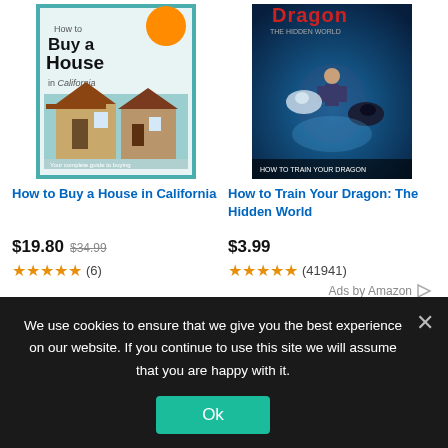[Figure (illustration): Book cover for 'How to Buy a House in California']
[Figure (illustration): Movie cover for 'How to Train Your Dragon: The Hidden World']
How to Buy a House in California
How to Train Your Dragon: The Hidden World
$19.80  $34.99
★★★★★ (6)
$3.99
★★★★★ (41941)
Ads by Amazon ▷
EBAY
We use cookies to ensure that we give you the best experience on our website. If you continue to use this site we will assume that you are happy with it.